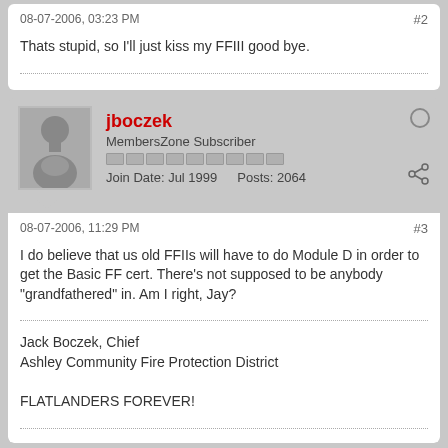08-07-2006, 03:23 PM    #2
Thats stupid, so I'll just kiss my FFIII good bye.
jboczek
MembersZone Subscriber
Join Date: Jul 1999    Posts: 2064
08-07-2006, 11:29 PM    #3
I do believe that us old FFIIs will have to do Module D in order to get the Basic FF cert. There's not supposed to be anybody "grandfathered" in. Am I right, Jay?
Jack Boczek, Chief
Ashley Community Fire Protection District

FLATLANDERS FOREVER!